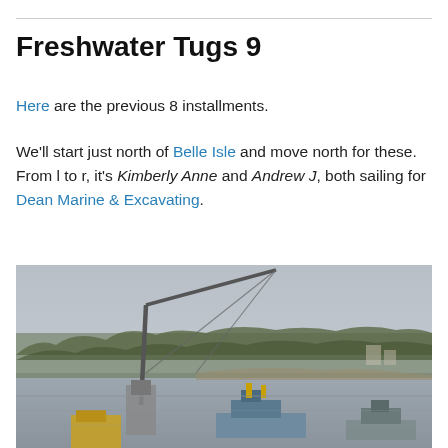Freshwater Tugs 9
Here are the previous 8 installments.
We'll start just north of Belle Isle and move north for these. From l to r, it's Kimberly Anne and Andrew J, both sailing for Dean Marine & Excavating.
[Figure (photo): Overcast waterway scene with a crane barge and tugboats in the foreground, a shoreline with bare trees in the background, and grey sky above.]